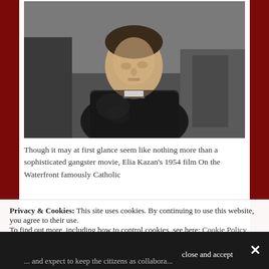[Figure (photo): Black and white photo of a man in a priest collar and dark jacket, looking upward, in what appears to be an industrial setting.]
Though it may at first glance seem like nothing more than a sophisticated gangster movie, Elia Kazan's 1954 film On the Waterfront famously Catholic...
Privacy & Cookies: This site uses cookies. By continuing to use this website, you agree to their use.
To find out more, including how to control cookies, see here: Cookie Policy
close and accept
... and expect to keep the citizens as collabora...